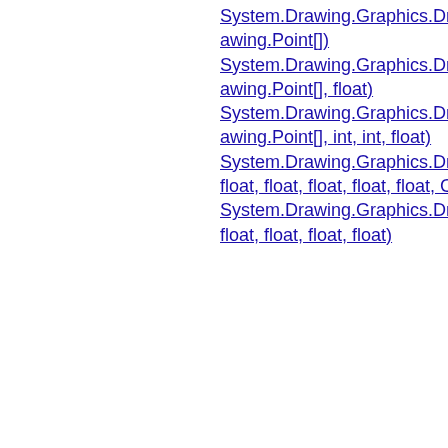System.Drawing.Graphics.DrawCurve(System.Drawing.Point[])
System.Drawing.Graphics.DrawCurve(System.Drawing.Point[], float)
System.Drawing.Graphics.DrawCurve(System.Drawing.Point[], int, int, float)
System.Drawing.Graphics.DrawCutRectangle(Sy... float, float, float, float, float, Corner)
System.Drawing.Graphics.DrawEllipse(System.D... float, float, float, float)
[Figure (screenshot): Advertisement box with 'Search for' bar and two results: 1. PROGRAMMING FOR BEGINNERS, 2. FOB PROGRAMMING, with Glocal Search footer]